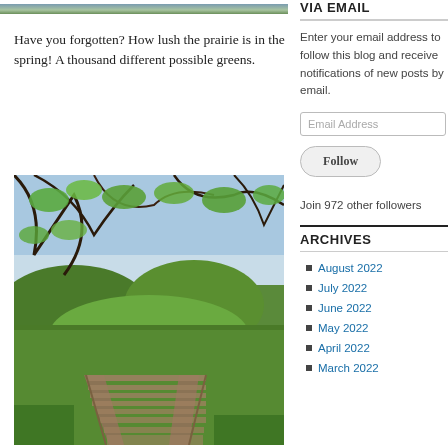[Figure (photo): Partial top edge of a nature/landscape photo showing sky and green trees/prairie]
Have you forgotten? How lush the prairie is in the spring! A thousand different possible greens.
[Figure (photo): A wooden boardwalk/bridge through lush green prairie vegetation with trees overhead and blue sky visible]
VIA EMAIL
Enter your email address to follow this blog and receive notifications of new posts by email.
Email Address
Follow
Join 972 other followers
ARCHIVES
August 2022
July 2022
June 2022
May 2022
April 2022
March 2022